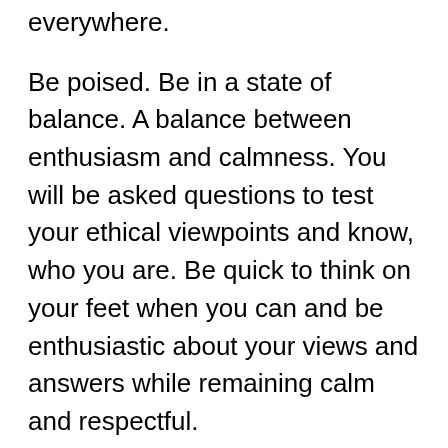everywhere.
Be poised. Be in a state of balance. A balance between enthusiasm and calmness. You will be asked questions to test your ethical viewpoints and know, who you are. Be quick to think on your feet when you can and be enthusiastic about your views and answers while remaining calm and respectful.
Be articulate. Don't talk too much. Give direct and clear answers to the questions being asked and always make eye contact, which shows how confident you are. Even if you're not. Talking too much merits mistakes. And